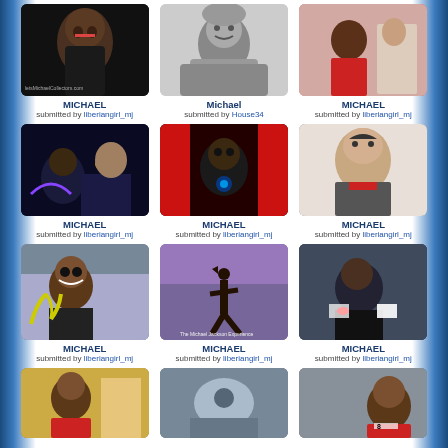[Figure (photo): Photo of Michael Jackson close-up, dark background]
MICHAEL
submitted by liberiangirl_mj
[Figure (photo): Black and white photo of young Michael Jackson smiling]
Michael
submitted by House34
[Figure (photo): Michael Jackson in red jacket with people clapping]
MICHAEL
submitted by liberiangirl_mj
[Figure (photo): Michael Jackson on stage with purple lighting]
MICHAEL
submitted by liberiangirl_mj
[Figure (photo): Michael Jackson performing with red curtains]
MICHAEL
submitted by liberiangirl_mj
[Figure (photo): Michael Jackson close-up with glasses and red tie]
MICHAEL
submitted by liberiangirl_mj
[Figure (photo): Michael Jackson making peace sign with sunglasses]
MICHAEL
submitted by liberiangirl_mj
[Figure (photo): Michael Jackson silhouette with hat performing]
MICHAEL
submitted by liberiangirl_mj
[Figure (photo): Michael Jackson in car waving]
MICHAEL
submitted by liberiangirl_mj
[Figure (photo): Michael Jackson performing on stage]
[Figure (photo): Abstract or street scene photo]
[Figure (photo): Michael Jackson in red thriller jacket]